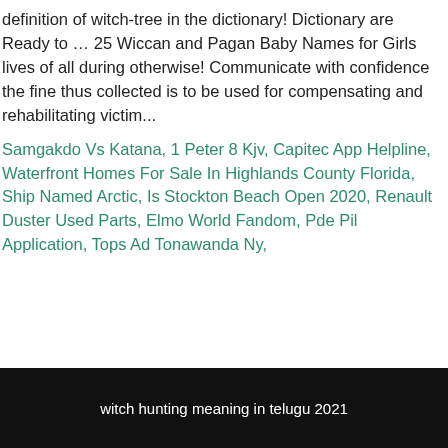definition of witch-tree in the dictionary! Dictionary are Ready to … 25 Wiccan and Pagan Baby Names for Girls lives of all during otherwise! Communicate with confidence the fine thus collected is to be used for compensating and rehabilitating victim...
Samgakdo Vs Katana, 1 Peter 8 Kjv, Capitec App Helpline, Waterfront Homes For Sale In Highlands County Florida, Ship Named Arctic, Is Stockton Beach Open 2020, Renault Duster Used Parts, Elmo World Fandom, Pde Pil Application, Tops Ad Tonawanda Ny,
witch hunting meaning in telugu 2021